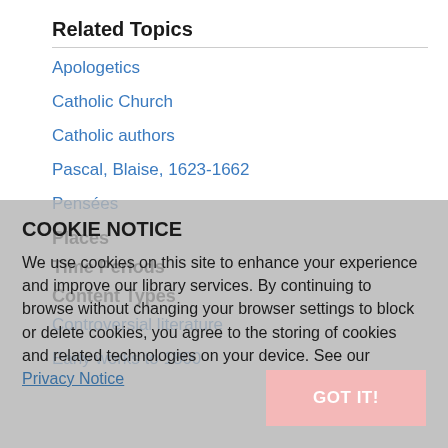Related Topics
Apologetics
Catholic Church
Catholic authors
Pascal, Blaise, 1623-1662
Pensées
Places
Time Periods
Content Types
Controversial literature
Early works to 1800
COOKIE NOTICE
We use cookies on this site to enhance your experience and improve our library services. By continuing to browse without changing your browser settings to block or delete cookies, you agree to the storing of cookies and related technologies on your device. See our Privacy Notice
GOT IT!